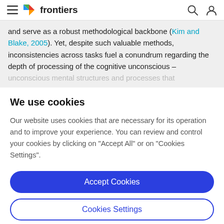frontiers
and serve as a robust methodological backbone (Kim and Blake, 2005). Yet, despite such valuable methods, inconsistencies across tasks fuel a conundrum regarding the depth of processing of the cognitive unconscious – unconscious mental structures and processes that
We use cookies
Our website uses cookies that are necessary for its operation and to improve your experience. You can review and control your cookies by clicking on "Accept All" or on "Cookies Settings".
Accept Cookies
Cookies Settings